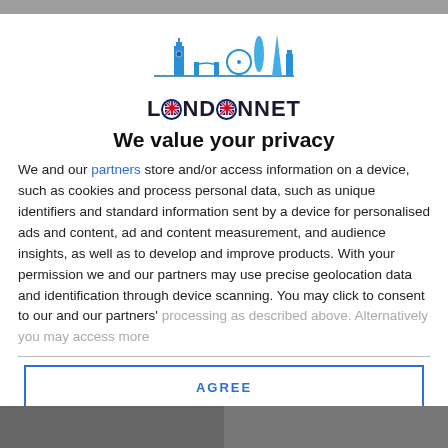[Figure (logo): LondonNet logo: skyline silhouette with Big Ben, London Eye, Shard in blue, and LONDONNET text with Union Jack circles replacing the O letters]
We value your privacy
We and our partners store and/or access information on a device, such as cookies and process personal data, such as unique identifiers and standard information sent by a device for personalised ads and content, ad and content measurement, and audience insights, as well as to develop and improve products. With your permission we and our partners may use precise geolocation data and identification through device scanning. You may click to consent to our and our partners' processing as described above. Alternatively you may access more
AGREE
MORE OPTIONS